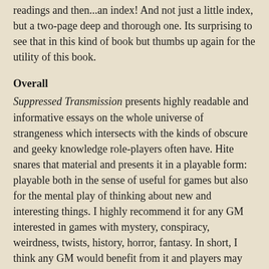readings and then...an index! And not just a little index, but a two-page deep and thorough one. Its surprising to see that in this kind of book but thumbs up again for the utility of this book.
Overall
Suppressed Transmission presents highly readable and informative essays on the whole universe of strangeness which intersects with the kinds of obscure and geeky knowledge role-players often have. Hite snares that material and presents it in a playable form: playable both in the sense of useful for games but also for the mental play of thinking about new and interesting things. I highly recommend it for any GM interested in games with mystery, conspiracy, weirdness, twists, history, horror, fantasy. In short, I think any GM would benefit from it and players may find themselves inspired as well.
Why the Rest Need to be Reprinted
For a long time I had an electronic subscription to Pyramid Magazine. Each week a new issue would appear, IIRC on Fridays. Honestly, that would make my whole day. There